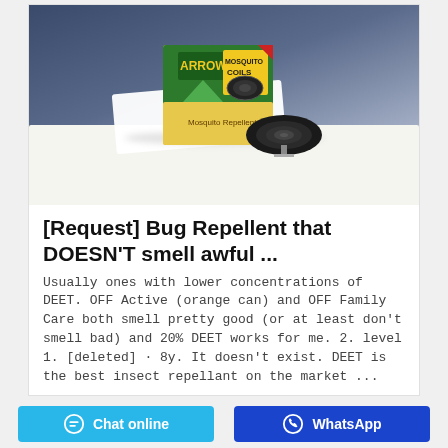[Figure (photo): Product photo of Arrow Mosquito Coils box with a mosquito coil displayed on a white surface against a blue-grey background]
[Request] Bug Repellent that DOESN'T smell awful ...
Usually ones with lower concentrations of DEET. OFF Active (orange can) and OFF Family Care both smell pretty good (or at least don't smell bad) and 20% DEET works for me. 2. level 1. [deleted] · 8y. It doesn't exist. DEET is the best insect repellant on the market ...
Chat online   WhatsApp